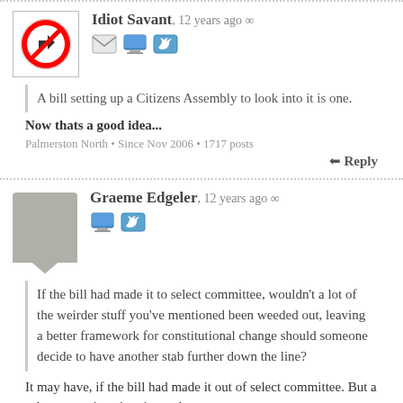[Figure (other): Dotted separator line at top]
[Figure (other): Avatar: No right turn sign icon for user Idiot Savant]
Idiot Savant, 12 years ago ∞
[Figure (other): Social icons: email, computer/web, Twitter]
A bill setting up a Citizens Assembly to look into it is one.
Now thats a good idea...
Palmerston North • Since Nov 2006 • 1717 posts
↩ Reply
[Figure (other): Dotted separator line]
[Figure (other): Avatar: grey speech bubble shape for user Graeme Edgeler]
Graeme Edgeler, 12 years ago ∞
[Figure (other): Social icons: computer/web, Twitter]
If the bill had made it to select committee, wouldn't a lot of the weirder stuff you've mentioned been weeded out, leaving a better framework for constitutional change should someone decide to have another stab further down the line?
It may have, if the bill had made it out of select committee. But a select committee inquiry, rather